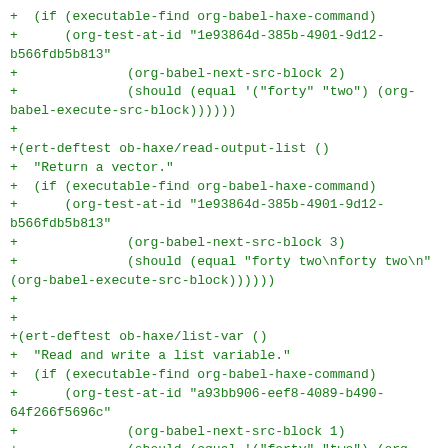+  (if (executable-find org-babel-haxe-command)
+      (org-test-at-id "1e93864d-385b-4901-9d12-b566fdb5b813"
+              (org-babel-next-src-block 2)
+              (should (equal '("forty" "two") (org-babel-execute-src-block)))))))
+
+(ert-deftest ob-haxe/read-output-list ()
+  "Return a vector."
+  (if (executable-find org-babel-haxe-command)
+      (org-test-at-id "1e93864d-385b-4901-9d12-b566fdb5b813"
+              (org-babel-next-src-block 3)
+              (should (equal "forty two\nforty two\n" (org-babel-execute-src-block)))))))
+
+
+(ert-deftest ob-haxe/list-var ()
+  "Read and write a list variable."
+  (if (executable-find org-babel-haxe-command)
+      (org-test-at-id "a93bb906-eef8-4089-b490-64f266f5696c"
+              (org-babel-next-src-block 1)
+              (should (equal '("forty" "two") (org-babel-execute-src-block)))))))
+
+(ert-deftest ob-haxe/vector-var ()
+  "Read and write a vector variable."
+  (if (executable-find org-babel-haxe-command)
+      (org-test-at-id "a93bb906-eef8-4089-b490-